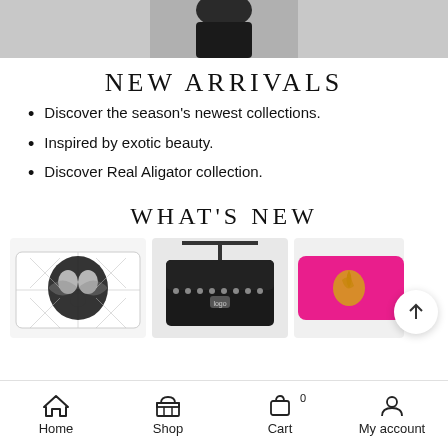[Figure (photo): Partial view of a person in dark clothing, cropped at the top of the page, grey/silver background]
NEW ARRIVALS
Discover the season's newest collections.
Inspired by exotic beauty.
Discover Real Aligator collection.
WHAT'S NEW
[Figure (photo): Three handbag product thumbnails: a white/black patterned quilted crossbody bag, a black studded crossbody bag, and a hot pink wallet/clutch with gold logo]
Home  Shop  Cart  My account